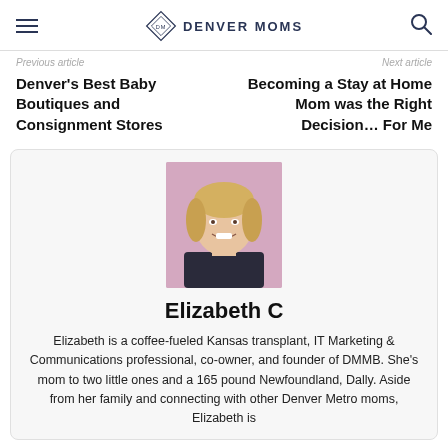Denver Moms
Previous article | Next article
Denver's Best Baby Boutiques and Consignment Stores
Becoming a Stay at Home Mom was the Right Decision… For Me
[Figure (photo): Headshot of Elizabeth C, a blonde woman smiling, wearing a dark top, photographed in front of a pink background]
Elizabeth C
Elizabeth is a coffee-fueled Kansas transplant, IT Marketing & Communications professional, co-owner, and founder of DMMB. She's mom to two little ones and a 165 pound Newfoundland, Dally. Aside from her family and connecting with other Denver Metro moms, Elizabeth is